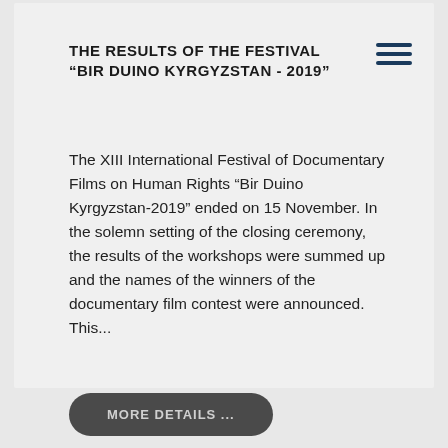THE RESULTS OF THE FESTIVAL “BIR DUINO KYRGYZSTAN - 2019”
The XIII International Festival of Documentary Films on Human Rights “Bir Duino Kyrgyzstan-2019” ended on 15 November. In the solemn setting of the closing ceremony, the results of the workshops were summed up and the names of the winners of the documentary film contest were announced. This...
MORE DETAILS ...